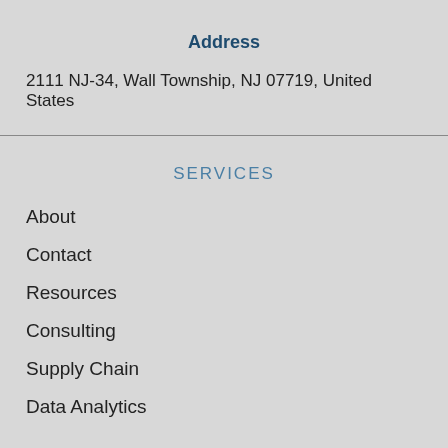Address
2111 NJ-34, Wall Township, NJ 07719, United States
SERVICES
About
Contact
Resources
Consulting
Supply Chain
Data Analytics